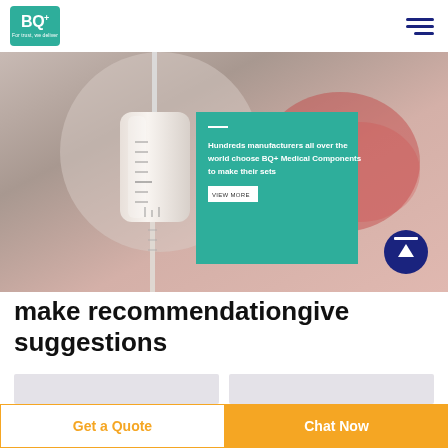[Figure (logo): BQ+ Medical logo with teal background and tagline 'For trust, we deliver']
[Figure (photo): Hero image of medical IV tube/drip component (white cylindrical component with markings) on blurred background. Overlaid teal card reads: 'Hundreds manufacturers all over the world choose BQ+ Medical Components to make their sets' with a VIEW MORE button. Purple scroll-to-top arrow button in bottom-right corner.]
make recommendationgive suggestions
[Figure (screenshot): Two input form fields side by side (light gray background)]
Get a Quote
Chat Now